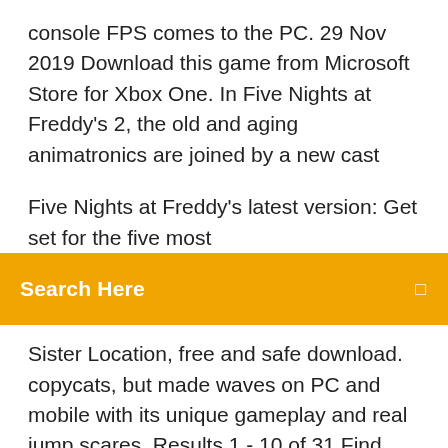console FPS comes to the PC. 29 Nov 2019 Download this game from Microsoft Store for Xbox One. In Five Nights at Freddy's 2, the old and aging animatronics are joined by a new cast
Five Nights at Freddy's latest version: Get set for the five most
Search Here
Sister Location, free and safe download. copycats, but made waves on PC and mobile with its unique gameplay and real jump scares. Results 1 - 10 of 31 Find Scott Cawthon software downloads at CNET Download.com, the most comprehensive source for safe, Five Nights at Freddy's 2. 18. Aug. 2016 FNaF World 1.24 (Update 2) kostenlos downloaden! Weitere virengeprüfte Software aus der Kategorie Spiele finden Sie bei computerbild.de! 31 Oct 2019 Download Five Nights at Freddy's 2 v2.0.1 (Patched + Mod) Apk Android - In Five Nights at Freddy's 2 ...